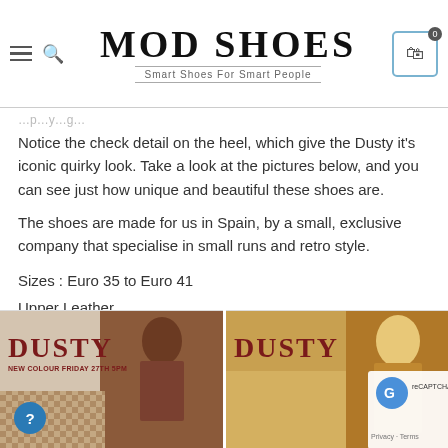MOD SHOES — Smart Shoes For Smart People
Notice the check detail on the heel, which give the Dusty it's iconic quirky look. Take a look at the pictures below, and you can see just how unique and beautiful these shoes are.
The shoes are made for us in Spain, by a small, exclusive company that specialise in small runs and retro style.
Sizes : Euro 35 to Euro 41
Upper Leather
Inner Leather
Sole Man Made
[Figure (photo): Product photo of Dusty shoes with 'DUSTY NEW COLOUR FRIDAY 27TH 5PM' promotional label and model wearing checked trousers]
[Figure (photo): Product photo of Dusty shoes with 'DUSTY' label and model in autumn setting]